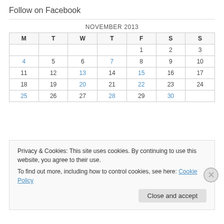Follow on Facebook
| M | T | W | T | F | S | S |
| --- | --- | --- | --- | --- | --- | --- |
|  |  |  |  | 1 | 2 | 3 |
| 4 | 5 | 6 | 7 | 8 | 9 | 10 |
| 11 | 12 | 13 | 14 | 15 | 16 | 17 |
| 18 | 19 | 20 | 21 | 22 | 23 | 24 |
| 25 | 26 | 27 | 28 | 29 | 30 |  |
Privacy & Cookies: This site uses cookies. By continuing to use this website, you agree to their use. To find out more, including how to control cookies, see here: Cookie Policy
Close and accept